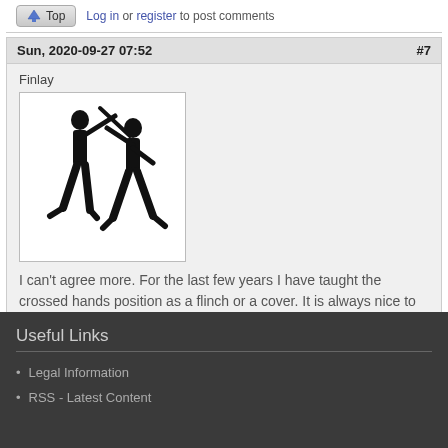Top  Log in or register to post comments
Sun, 2020-09-27 07:52  #7
Finlay
[Figure (illustration): Silhouette of two martial arts figures fighting with a staff/stick weapon]
I can't agree more. For the last few years I have taught the crossed hands position as a flinch or a cover. It is always nice to get some validation from other practitioners.
Top  Log in or register to post comments
Useful Links
Legal Information
RSS - Latest Content